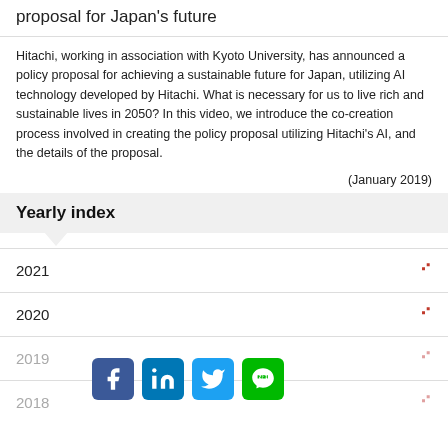proposal for Japan's future
Hitachi, working in association with Kyoto University, has announced a policy proposal for achieving a sustainable future for Japan, utilizing AI technology developed by Hitachi. What is necessary for us to live rich and sustainable lives in 2050? In this video, we introduce the co-creation process involved in creating the policy proposal utilizing Hitachi's AI, and the details of the proposal.
(January 2019)
Yearly index
2021
2020
2019
2018
[Figure (other): Social media sharing buttons: Facebook, LinkedIn, Twitter, LINE]